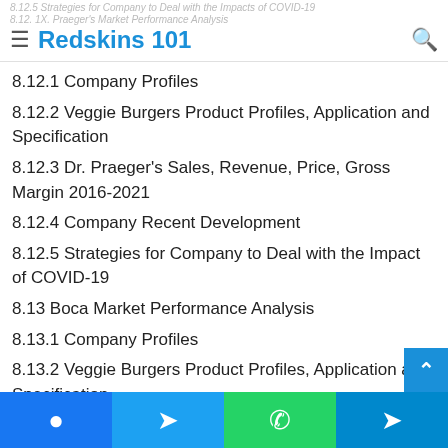Redskins 101
8.12.1 Company Profiles
8.12.2 Veggie Burgers Product Profiles, Application and Specification
8.12.3 Dr. Praeger's Sales, Revenue, Price, Gross Margin 2016-2021
8.12.4 Company Recent Development
8.12.5 Strategies for Company to Deal with the Impact of COVID-19
8.13 Boca Market Performance Analysis
8.13.1 Company Profiles
8.13.2 Veggie Burgers Product Profiles, Application and Specification
8.13.3 Boca Sales, Revenue, Price, Gross Margin 2016-202…